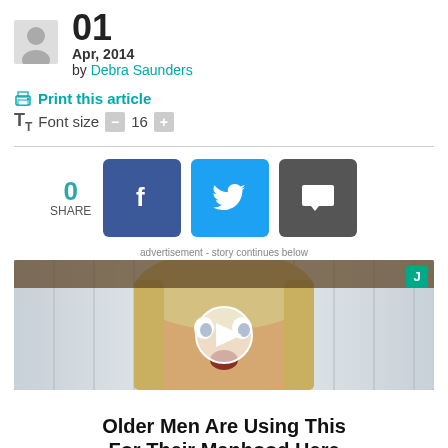[Figure (illustration): Grey avatar/profile placeholder icon]
01  Apr, 2014 by Debra Saunders
🖨 Print this article
Tt Font size  - 16 +
0 SHARE
[Figure (photo): Social share buttons: Facebook (blue), Twitter (cyan), Comment (dark grey)]
advertisement - story continues below
[Figure (photo): Video thumbnail showing a surprised-looking blonde woman with a play button overlay, with a green J badge in the top right corner]
Older Men Are Using This For Their Manhood Here